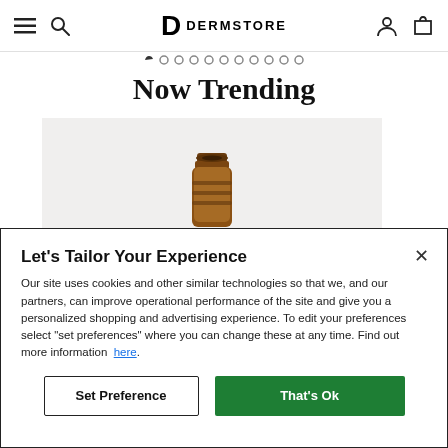Dermstore navigation bar with menu, search, logo, account and cart icons
[Figure (other): Carousel dot navigation indicators row]
Now Trending
[Figure (photo): Product image: top of an amber glass bottle on a light gray background]
Let's Tailor Your Experience
Our site uses cookies and other similar technologies so that we, and our partners, can improve operational performance of the site and give you a personalized shopping and advertising experience. To edit your preferences select "set preferences" where you can change these at any time. Find out more information here.